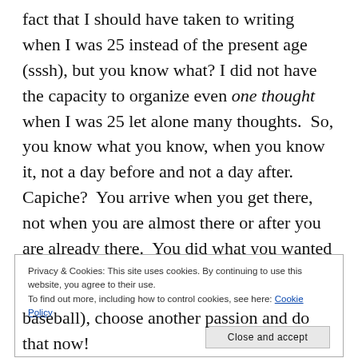fact that I should have taken to writing when I was 25 instead of the present age (sssh), but you know what? I did not have the capacity to organize even one thought when I was 25 let alone many thoughts.  So, you know what you know, when you know it, not a day before and not a day after.  Capiche?  You arrive when you get there, not when you are almost there or after you are already there.  You did what you wanted to do at the time because it made sense at the time.  Sure, now you would have done it differently,
Privacy & Cookies: This site uses cookies. By continuing to use this website, you agree to their use.
To find out more, including how to control cookies, see here: Cookie Policy
baseball), choose another passion and do that now!